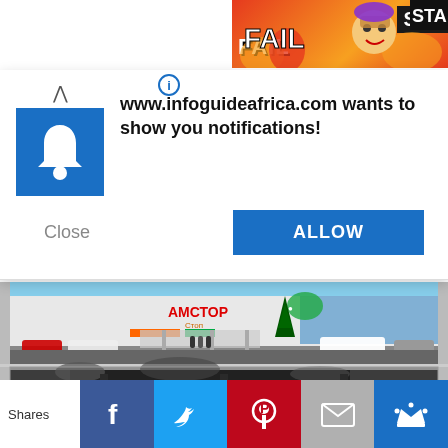[Figure (screenshot): Top advertisement banner strip showing 'FAIL' text with cartoon character and partial 'STA' text on dark background]
[Figure (screenshot): Browser notification popup from www.infoguideafrica.com with bell icon, message 'www.infoguideafrica.com wants to show you notifications!', Close button and blue ALLOW button]
[Figure (photo): Two-photo composite: top photo shows AMSTOR shopping mall exterior before damage (modern building with Cyrillic signage, Christmas tree, parked cars); bottom photo shows the same mall after fire/destruction with firefighters and debris]
[Figure (screenshot): Social media share bar at bottom showing Shares label followed by Facebook, Twitter, Pinterest, Email, and Crown share buttons]